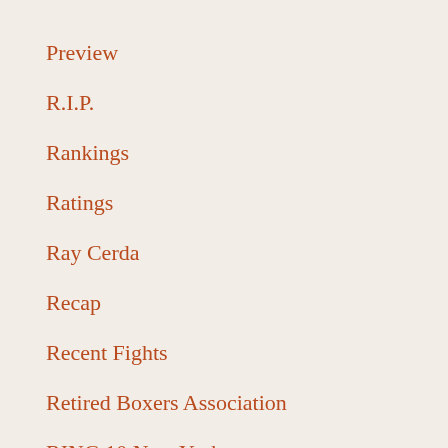Preview
R.I.P.
Rankings
Ratings
Ray Cerda
Recap
Recent Fights
Retired Boxers Association
RING 10 New York
Roberto Duran
Rusty Rubin
Steve Corbo
T-Shirts
tank tops